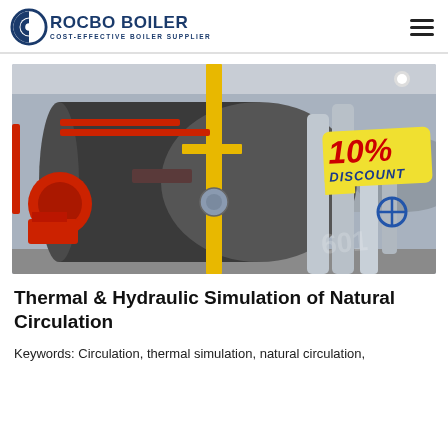ROCBO BOILER - COST-EFFECTIVE BOILER SUPPLIER
[Figure (photo): Industrial boiler room with a large cylindrical gas-fired boiler (red burner on left), yellow gas pipes, red and silver piping, and a 10% DISCOUNT badge overlay in the top-right area of the image.]
Thermal & Hydraulic Simulation of Natural Circulation
Keywords: Circulation, thermal simulation, natural circulation,